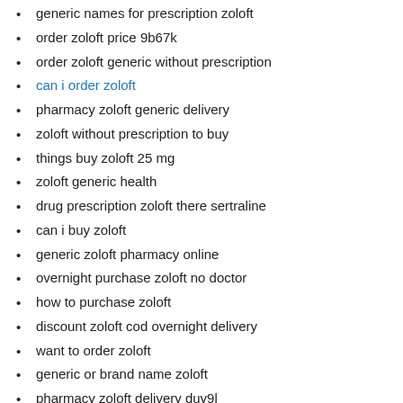generic names for prescription zoloft
order zoloft price 9b67k
order zoloft generic without prescription
can i order zoloft
pharmacy zoloft generic delivery
zoloft without prescription to buy
things buy zoloft 25 mg
zoloft generic health
drug prescription zoloft there sertraline
can i buy zoloft
generic zoloft pharmacy online
overnight purchase zoloft no doctor
how to purchase zoloft
discount zoloft cod overnight delivery
want to order zoloft
generic or brand name zoloft
pharmacy zoloft delivery duy9l
buy zoloft fast sunderland
zoloft order prescription
zoloft 50 review anxiety
how to buy zoloft
no script zoloft discounts